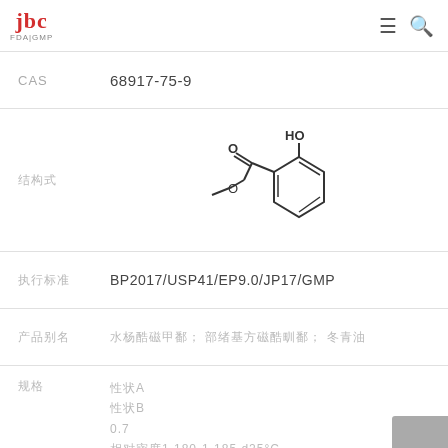JBC FDA|GMP
| Field | Value |
| --- | --- |
| CAS | 68917-75-9 |
| 结构式 | [chemical structure of methyl salicylate] |
| 执行标准 | BP2017/USP41/EP9.0/JP17/GMP |
| 产品别名 | 水杨酸甲酯; 邻羟基苯甲酸甲酯; 冬青油 |
| 规格 | 性状A白色至淡黄色液体，具特征香气
性状B白色至淡黄色液体，具特征香气
0.7等级折光率、相对密度等指标
相对密度1.180-1.185（d25°C）
折光率范围等
水分NMT 0.1% |